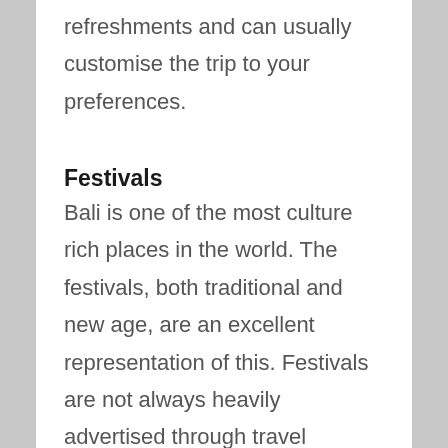refreshments and can usually customise the trip to your preferences.
Festivals
Bali is one of the most culture rich places in the world. The festivals, both traditional and new age, are an excellent representation of this. Festivals are not always heavily advertised through travel companies and the internet but if you put in a little research the results are very rewarding. The Sanur village festival,